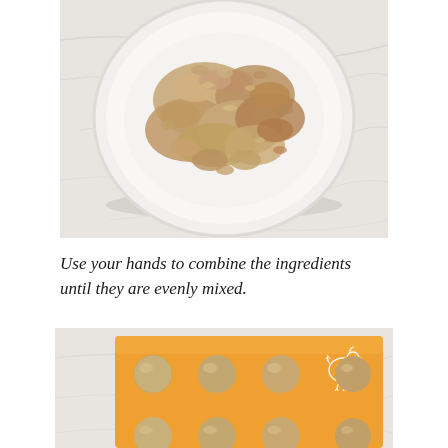[Figure (photo): Top-down view of a white bowl on a marble surface containing a crumbly, granular mixture (oat and flour based dough or mixture), showing a coarse texture before being fully combined.]
Use your hands to combine the ingredients until they are evenly mixed.
[Figure (photo): Orange silicone baking mat on a marble surface with 9 evenly spaced balls of dough arranged in a 3x3 grid visible, plus a row of partial balls along the bottom edge. A white chicken outline logo appears in the upper right corner of the mat.]